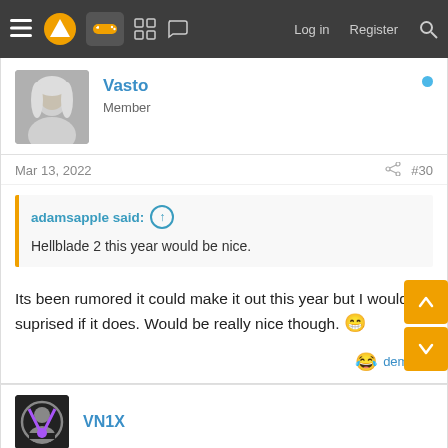Navigation bar with logo, forum icons, Log in, Register, Search
Vasto
Member
Mar 13, 2022  #30
adamsapple said:
Hellblade 2 this year would be nice.
Its been rumored it could make it out this year but I would be suprised if it does. Would be really nice though. 😁
demigod 😂
VN1X